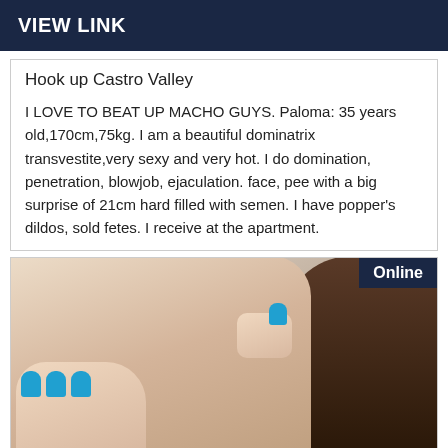VIEW LINK
Hook up Castro Valley
I LOVE TO BEAT UP MACHO GUYS. Paloma: 35 years old,170cm,75kg. I am a beautiful dominatrix transvestite,very sexy and very hot. I do domination, penetration, blowjob, ejaculation. face, pee with a big surprise of 21cm hard filled with semen. I have popper's dildos, sold fetes. I receive at the apartment.
[Figure (photo): A blurred/close-up photo of a person with dark hair and blue-painted fingernails. An 'Online' badge appears in the top-right corner of the image.]